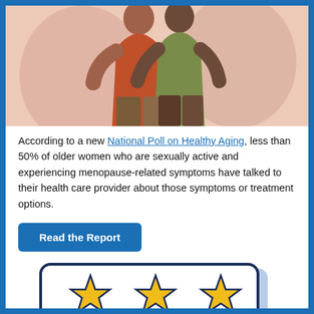[Figure (illustration): Two people hugging, illustrated in flat style with warm skin tones against a peach/pink background.]
According to a new National Poll on Healthy Aging, less than 50% of older women who are sexually active and experiencing menopause-related symptoms have talked to their health care provider about those symptoms or treatment options.
Read the Report
[Figure (illustration): A rounded rectangle card/tablet showing three gold stars, with a light blue shadow, representing a rating or review interface.]